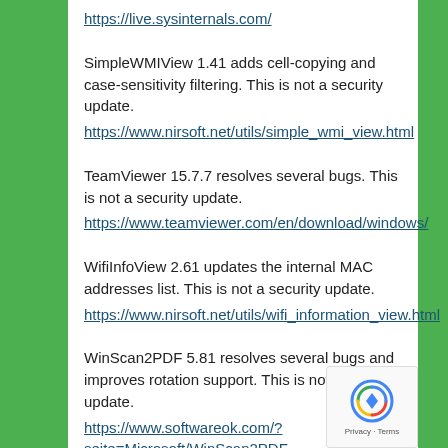https://live.sysinternals.com/
SimpleWMIView 1.41 adds cell-copying and case-sensitivity filtering. This is not a security update. https://www.nirsoft.net/utils/simple_wmi_view.html
TeamViewer 15.7.7 resolves several bugs. This is not a security update. https://www.teamviewer.com/en/download/windows/
WifiInfoView 2.61 updates the internal MAC addresses list. This is not a security update. https://www.nirsoft.net/utils/wifi_information_view.html
WinScan2PDF 5.81 resolves several bugs and improves rotation support. This is not a security update. https://www.softwareok.com/?seite=Microsoft/WinScan2PDF
Developer Updates
These are unlikely to be of interest to most people.